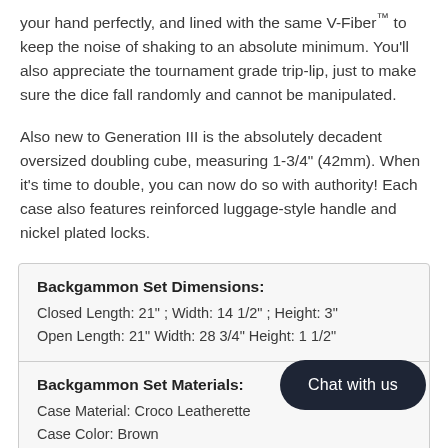your hand perfectly, and lined with the same V-Fiber™ to keep the noise of shaking to an absolute minimum. You'll also appreciate the tournament grade trip-lip, just to make sure the dice fall randomly and cannot be manipulated.
Also new to Generation III is the absolutely decadent oversized doubling cube, measuring 1-3/4" (42mm). When it's time to double, you can now do so with authority! Each case also features reinforced luggage-style handle and nickel plated locks.
| Backgammon Set Dimensions: |  |
| Closed Length: 21" ; Width: 14 1/2" ; Height: 3" |  |
| Open Length: 21" Width: 28 3/4" Height: 1 1/2" |  |
| Backgammon Set Materials: |  |
| Case Material: Croco Leatherette |  |
| Case Color: Brown |  |